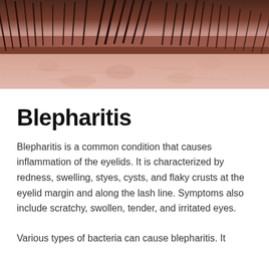[Figure (photo): Close-up macro photograph of a human eyelid showing eyelashes and skin texture, with pinkish-peach skin tone and dark eyelashes visible against the eyelid margin.]
Blepharitis
Blepharitis is a common condition that causes inflammation of the eyelids. It is characterized by redness, swelling, styes, cysts, and flaky crusts at the eyelid margin and along the lash line. Symptoms also include scratchy, swollen, tender, and irritated eyes.
Various types of bacteria can cause blepharitis. It